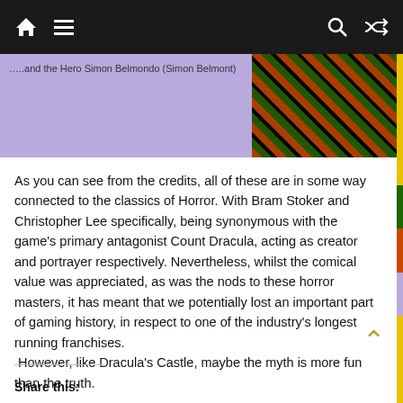Navigation bar with home, menu, search, and shuffle icons
[Figure (screenshot): Partial screenshot showing a purple background with text '…..and the Hero Simon Belmondo (Simon Belmont)' on the left and a pixelated orange/green pattern on the right]
As you can see from the credits, all of these are in some way connected to the classics of Horror.  With Bram Stoker and Christopher Lee specifically, being synonymous with the game's primary antagonist Count Dracula, acting as creator and portrayer respectively.  Nevertheless, whilst the comical value was appreciated, as was the nods to these horror masters, it has meant that we potentially lost an important part of gaming history, in respect to one of the industry's longest running franchises.
 However, like Dracula's Castle, maybe the myth is more fun than the truth.
Share this: